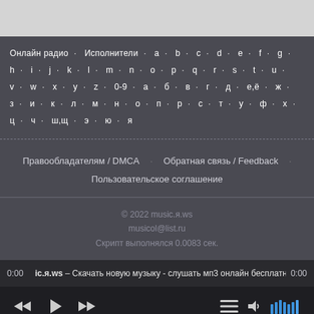Онлайн радио · Исполнители · a · b · c · d · e · f · g · h · i · j · k · l · m · n · o · p · q · r · s · t · u · v · w · x · y · z · 0-9 · а · б · в · г · д · е,ё · ж · з · и · к · л · м · н · о · п · р · с · т · у · ф · х · ц · ч · ш,щ · э · ю · я
Правообладателям / DMCA · Обратная связь / Feedback · Пользовательское соглашение
© 2022 music.я.ws
musicol@list.ru
Скрипт выполнялся 0.0083 сек.
0:00  ic.я.ws – Скачать новую музыку - слушать мп3 онлайн бесплатн  0:00